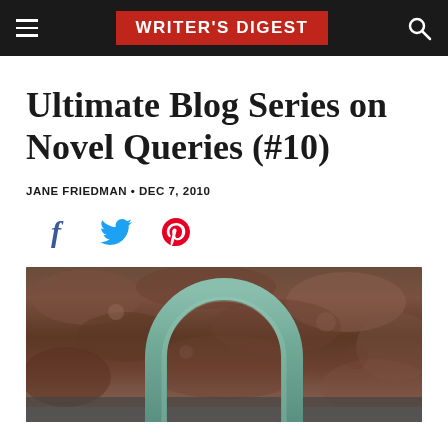WRITER'S DIGEST
Ultimate Blog Series on Novel Queries (#10)
JANE FRIEDMAN • DEC 7, 2010
[Figure (other): Social media share icons: Facebook (f), Twitter (bird), Pinterest (P)]
[Figure (photo): Photo of a green patinated metal horseshoe arch sculpture against a rocky stone wall background]